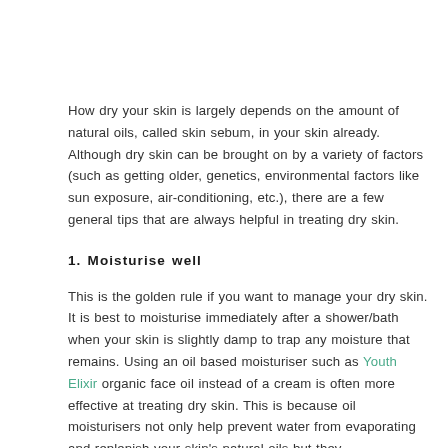How dry your skin is largely depends on the amount of natural oils, called skin sebum, in your skin already. Although dry skin can be brought on by a variety of factors (such as getting older, genetics, environmental factors like sun exposure, air-conditioning, etc.), there are a few general tips that are always helpful in treating dry skin.
1. Moisturise well
This is the golden rule if you want to manage your dry skin. It is best to moisturise immediately after a shower/bath when your skin is slightly damp to trap any moisture that remains. Using an oil based moisturiser such as Youth Elixir organic face oil instead of a cream is often more effective at treating dry skin. This is because oil moisturisers not only help prevent water from evaporating and replenish your skin's natural oils but they also contain nutrients and are...